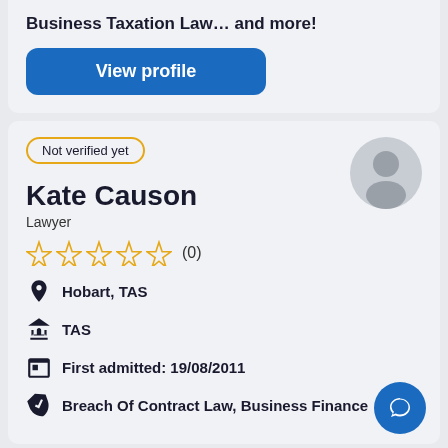Business Taxation Law… and more!
View profile
Not verified yet
[Figure (illustration): Generic user avatar circle with silhouette icon]
Kate Causon
Lawyer
(0) stars rating
Hobart, TAS
TAS
First admitted: 19/08/2011
Breach Of Contract Law, Business Finance